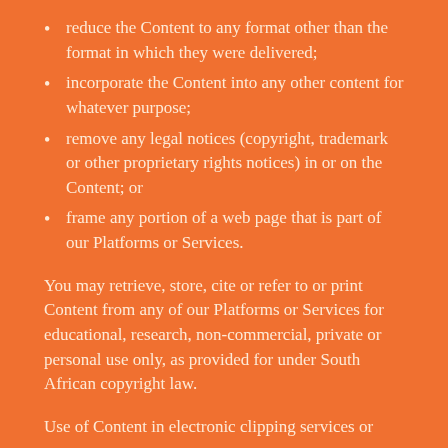reduce the Content to any format other than the format in which they were delivered;
incorporate the Content into any other content for whatever purpose;
remove any legal notices (copyright, trademark or other proprietary rights notices) in or on the Content; or
frame any portion of a web page that is part of our Platforms or Services.
You may retrieve, store, cite or refer to or print Content from any of our Platforms or Services for educational, research, non-commercial, private or personal use only, as provided for under South African copyright law.
Use of Content in electronic clipping services or